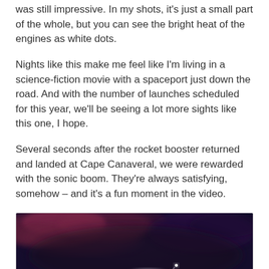was still impressive. In my shots, it's just a small part of the whole, but you can see the bright heat of the engines as white dots.
Nights like this make me feel like I'm living in a science-fiction movie with a spaceport just down the road. And with the number of launches scheduled for this year, we'll be seeing a lot more sights like this one, I hope.
Several seconds after the rocket booster returned and landed at Cape Canaveral, we were rewarded with the sonic boom. They're always satisfying, somehow – and it's a fun moment in the video.
[Figure (photo): Night sky photograph showing dark purple-blue sky with swirling reddish-purple clouds and a white smoke trail from a rocket, with a small bright dot visible]